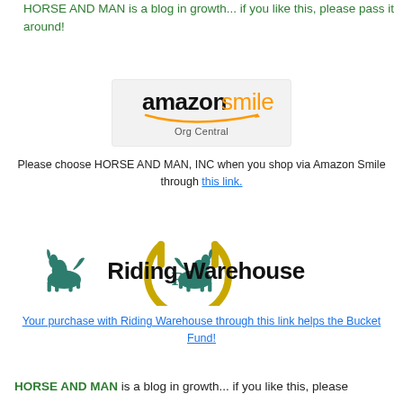HORSE AND MAN is a blog in growth... if you like this, please pass it around!
[Figure (logo): Amazon Smile Org Central logo - black 'amazon' text with orange smile arrow, 'smile' in orange, 'Org Central' text below on light gray background]
Please choose HORSE AND MAN, INC when you shop via Amazon Smile through this link.
[Figure (logo): Riding Warehouse logo - two teal/green horse silhouettes flanking a gold horseshoe with RW monogram, 'Riding Warehouse' in large black bold text]
Your purchase with Riding Warehouse through this link helps the Bucket Fund!
HORSE AND MAN is a blog in growth... if you like this, please